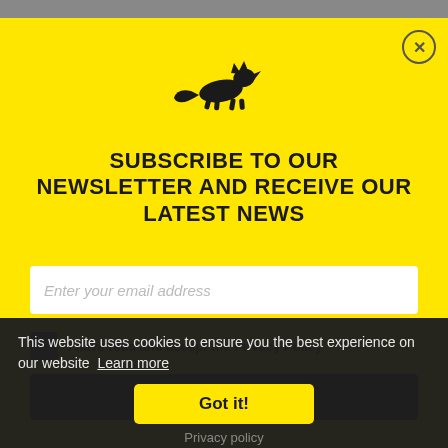[Figure (illustration): Top image strip (partial photo, cropped)]
[Figure (logo): Running fox silhouette logo in black on yellow background]
SUBSCRIBE TO OUR NEWSLETTER AND RECEIVE OUR LATEST NEWS
Enter your email address
I have read and accept the Privacy Policy
SIGN UP
This website uses cookies to ensure you the best experience on our website  Learn more
Got it!
Privacy policy